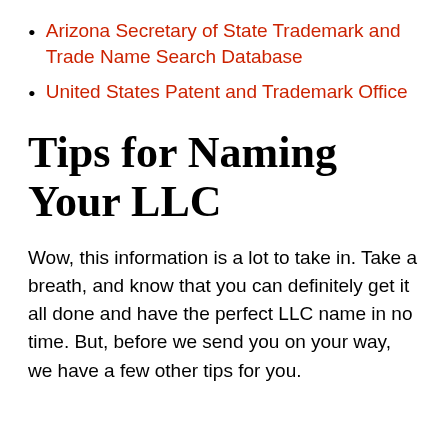Arizona Secretary of State Trademark and Trade Name Search Database
United States Patent and Trademark Office
Tips for Naming Your LLC
Wow, this information is a lot to take in. Take a breath, and know that you can definitely get it all done and have the perfect LLC name in no time. But, before we send you on your way, we have a few other tips for you.